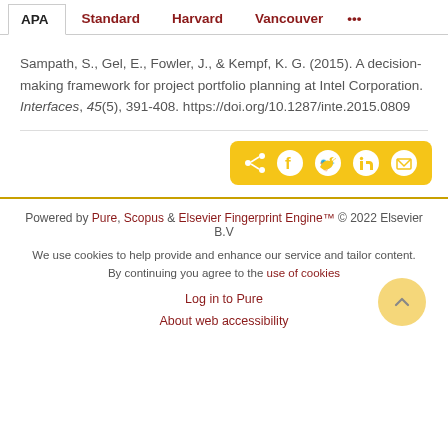APA | Standard | Harvard | Vancouver | ...
Sampath, S., Gel, E., Fowler, J., & Kempf, K. G. (2015). A decision-making framework for project portfolio planning at Intel Corporation. Interfaces, 45(5), 391-408. https://doi.org/10.1287/inte.2015.0809
[Figure (infographic): Social share buttons bar with icons for share, Facebook, Twitter, LinkedIn, and email on a yellow background]
Powered by Pure, Scopus & Elsevier Fingerprint Engine™ © 2022 Elsevier B.V
We use cookies to help provide and enhance our service and tailor content. By continuing you agree to the use of cookies
Log in to Pure
About web accessibility